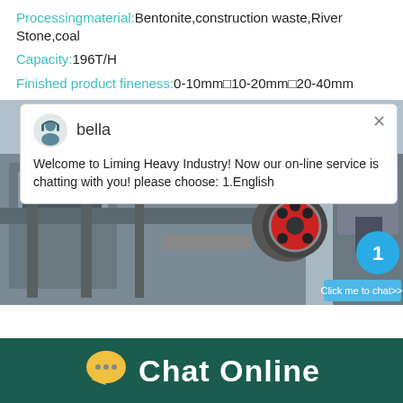Processingmaterial:Bentonite,construction waste,River Stone,coal
Capacity:196T/H
Finished product fineness:0-10mm□10-20mm□20-40mm
[Figure (screenshot): Screenshot of Liming Heavy Industry website showing machinery photo with a live chat popup bubble from agent 'bella' saying: Welcome to Liming Heavy Industry! Now our on-line service is chatting with you! please choose: 1.English. A notification badge showing '1' and a 'Click me to chat>>' button are visible on the right.]
Chat Online